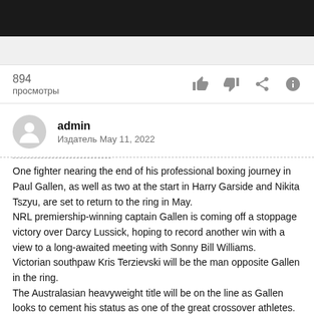894
просмотры
admin
Издатель May 11, 2022
One fighter nearing the end of his professional boxing journey in Paul Gallen, as well as two at the start in Harry Garside and Nikita Tszyu, are set to return to the ring in May.
NRL premiership-winning captain Gallen is coming off a stoppage victory over Darcy Lussick, hoping to record another win with a view to a long-awaited meeting with Sonny Bill Williams.
Victorian southpaw Kris Terzievski will be the man opposite Gallen in the ring.
The Australasian heavyweight title will be on the line as Gallen looks to cement his status as one of the great crossover athletes.
Considering he lives in Manchester and the Australian lightweight title